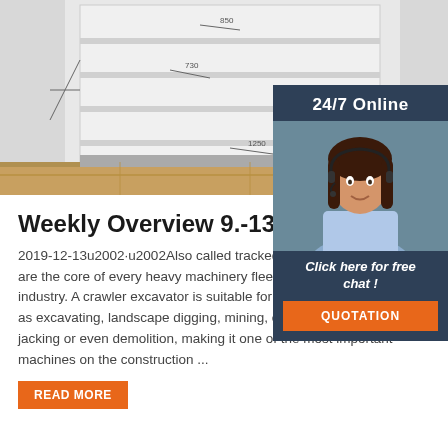[Figure (photo): Engineering/industrial shelving unit or cabinet with dimensions shown, displayed in a room with wooden floor]
[Figure (infographic): 24/7 Online chat support panel with female agent wearing headset, dark blue background with orange QUOTATION button and 'Click here for free chat!' text]
Weekly Overview 9.-13.12.20...
2019-12-13u2002·u2002Also called tracked ex... crawler excavators are the core of every heavy machinery fleet in the construction industry. A crawler excavator is suitable for a wide range of jobs such as excavating, landscape digging, mining, civil engineering, pipe jacking or even demolition, making it one of the most important machines on the construction ...